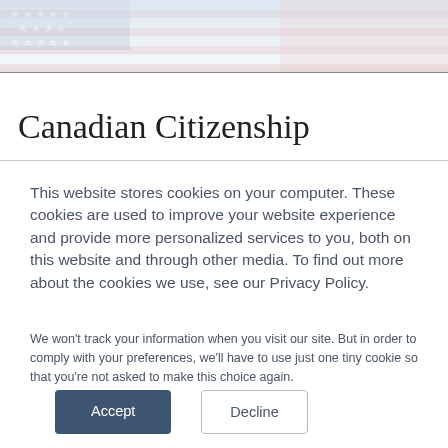[Figure (illustration): American flag banner image at top of page with red, white, blue colors and stars, faded/muted overlay]
Canadian Citizenship
This website stores cookies on your computer. These cookies are used to improve your website experience and provide more personalized services to you, both on this website and through other media. To find out more about the cookies we use, see our Privacy Policy.
We won't track your information when you visit our site. But in order to comply with your preferences, we'll have to use just one tiny cookie so that you're not asked to make this choice again.
Accept   Decline